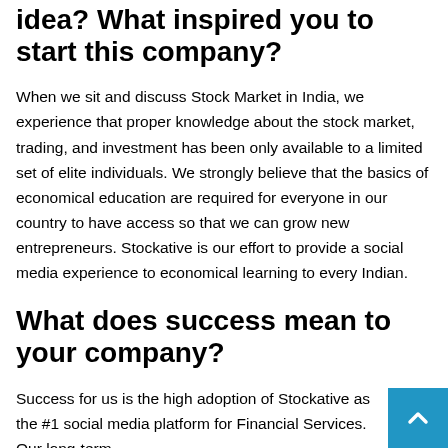idea? What inspired you to start this company?
When we sit and discuss Stock Market in India, we experience that proper knowledge about the stock market, trading, and investment has been only available to a limited set of elite individuals. We strongly believe that the basics of economical education are required for everyone in our country to have access so that we can grow new entrepreneurs. Stockative is our effort to provide a social media experience to economical learning to every Indian.
What does success mean to your company?
Success for us is the high adoption of Stockative as the #1 social media platform for Financial Services. Our long-term